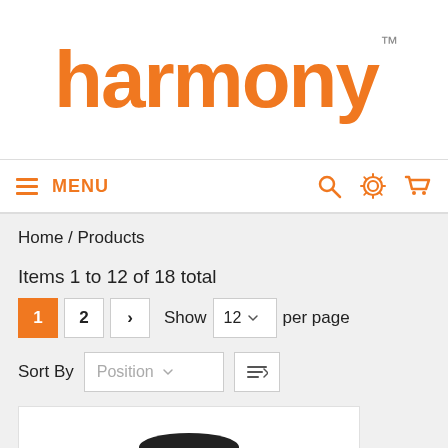[Figure (logo): Harmony brand logo in orange with TM mark]
≡ MENU | search icon | settings icon | cart icon
Home / Products
Items 1 to 12 of 18 total
1  2  >  Show  12 ▼  per page
Sort By  Position ▼  [sort icon]
[Figure (photo): Product image showing a black car seat booster / accessory on white background]